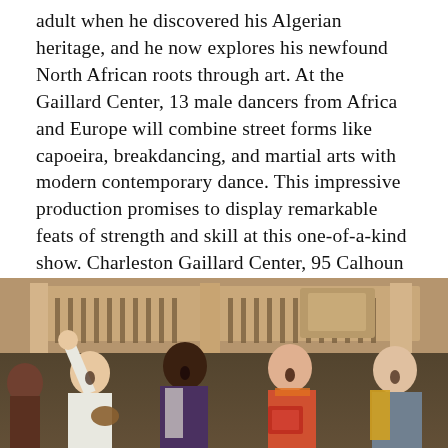adult when he discovered his Algerian heritage, and he now explores his newfound North African roots through art. At the Gaillard Center, 13 male dancers from Africa and Europe will combine street forms like capoeira, breakdancing, and martial arts with modern contemporary dance. This impressive production promises to display remarkable feats of strength and skill at this one-of-a-kind show. Charleston Gaillard Center, 95 Calhoun St. Saturday, 7pm; Sunday, 2pm. $80-$31.50. (843)579-3100,
SPOLETOUSA.ORG
[Figure (photo): Performance photo showing four performers on stage in an ornate theater setting with balconies. From left: a performer with arm raised, a performer playing a stringed instrument, a Black performer in patterned jacket, a woman playing accordion, and a man in a yellow scarf, all appearing to sing or perform with energy.]